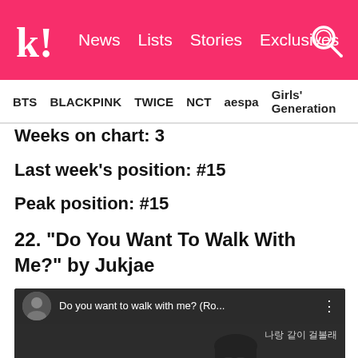K! News Lists Stories Exclusives
BTS  BLACKPINK  TWICE  NCT  aespa  Girls' Generation
Weeks on chart: 3
Last week's position: #15
Peak position: #15
22. “Do You Want To Walk With Me?” by Jukjae
[Figure (screenshot): YouTube video embed showing 'Do you want to walk with me? (Ro...' with Korean subtitle text '나랑 같이 걸볼래' and an animated character]